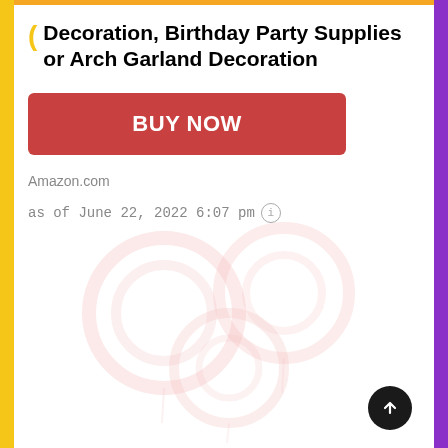Decoration, Birthday Party Supplies or Arch Garland Decoration
BUY NOW
Amazon.com
as of June 22, 2022 6:07 pm
[Figure (illustration): Faded watermark-style illustration of balloons or circular decorative shapes in light pink/red tones]
[Figure (other): Scroll-to-top button: dark circle with white upward arrow]